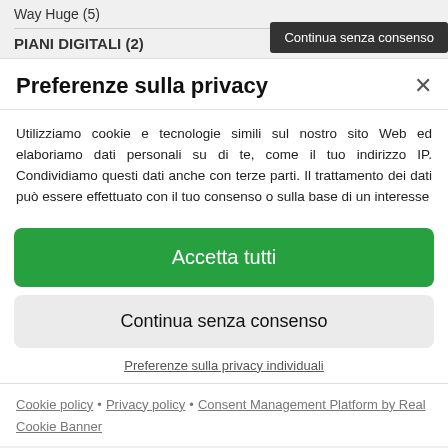Way Huge (5)
PIANI DIGITALI (2)
Continua senza consenso
Preferenze sulla privacy
Utilizziamo cookie e tecnologie simili sul nostro sito Web ed elaboriamo dati personali su di te, come il tuo indirizzo IP. Condividiamo questi dati anche con terze parti. Il trattamento dei dati può essere effettuato con il tuo consenso o sulla base di un interesse
Accetta tutti
Continua senza consenso
Preferenze sulla privacy individuali
Cookie policy • Privacy policy • Consent Management Platform by Real Cookie Banner